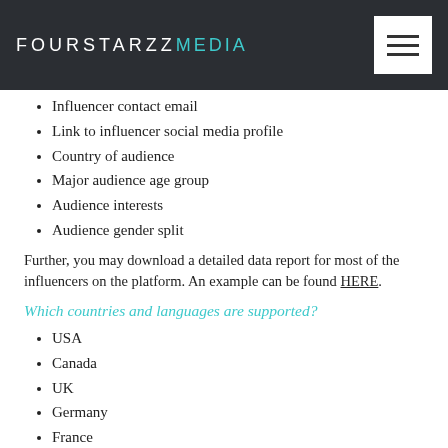FOURSTARZZMEDIA
Influencer contact email
Link to influencer social media profile
Country of audience
Major audience age group
Audience interests
Audience gender split
Further, you may download a detailed data report for most of the influencers on the platform. An example can be found HERE.
Which countries and languages are supported?
USA
Canada
UK
Germany
France
Switzerland
Accordingly, you can find influencers who speak the following languages: